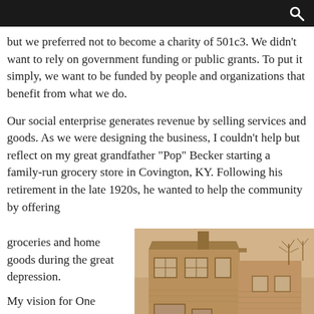but we preferred not to become a charity of 501c3. We didn't want to rely on government funding or public grants. To put it simply, we want to be funded by people and organizations that benefit from what we do.
Our social enterprise generates revenue by selling services and goods. As we were designing the business, I couldn't help but reflect on my great grandfather "Pop" Becker starting a family-run grocery store in Covington, KY. Following his retirement in the late 1920s, he wanted to help the community by offering groceries and home goods during the great depression.
[Figure (photo): Sepia-toned vintage photograph of a two-story house/store building in Covington, KY, with bare trees visible in the background.]
My vision for One Legacy has always